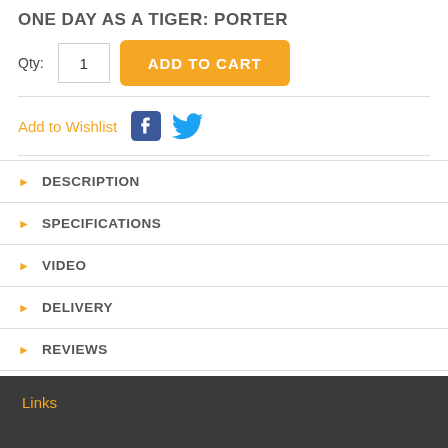ONE DAY AS A TIGER: PORTER
Qty: 1  ADD TO CART
Add to Wishlist
DESCRIPTION
SPECIFICATIONS
VIDEO
DELIVERY
REVIEWS
Links